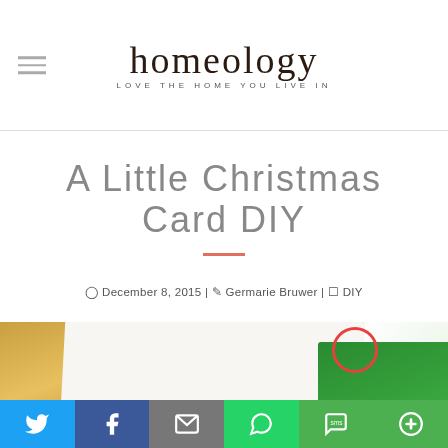homeology — LOVE THE HOME YOU LIVE IN
A LITTLE CHRISTMAS CARD DIY
December 8, 2015 | Germarie Bruwer | DIY
[Figure (photo): Close-up photo of a Christmas card DIY showing colourful paper/card elements including green and gold/yellow shapes with a red circle stamp, on a white folded card background]
[Figure (infographic): Social media share bar with icons for Twitter, Facebook, Email, WhatsApp, SMS, and More sharing options]